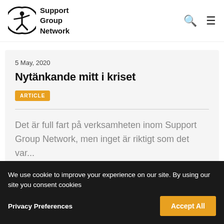[Figure (logo): Support Group Network logo with circular icon and SGN text]
5 May, 2020
Nytänkande mitt i kriset
ARTICLE
Det är full fart på verksamheten inom Support Group Network, men inget är riktigt som det var...
We use cookie to improve your experience on our site. By using our site you consent cookies
Privacy Preferences
Accept All